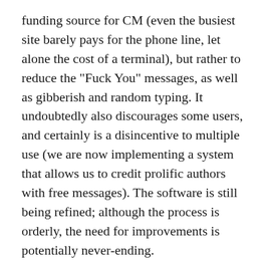funding source for CM (even the busiest site barely pays for the phone line, let alone the cost of a terminal), but rather to reduce the "Fuck You" messages, as well as gibberish and random typing. It undoubtedly also discourages some users, and certainly is a disincentive to multiple use (we are now implementing a system that allows us to credit prolific authors with free messages). The software is still being refined; although the process is orderly, the need for improvements is potentially never-ending.
The Seeds Of Discontent
In many ways, I've got a really SHITTY job. The equipment is inadequateand poorly positioned and my "office" is little more than a cubicle made of book shelves that does nothing to keep out street and office